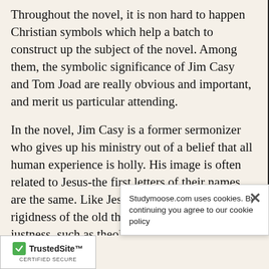Throughout the novel, it is non hard to happen Christian symbols which help a batch to construct up the subject of the novel. Among them, the symbolic significance of Jim Casy and Tom Joad are really obvious and important, and merit us particular attending.
In the novel, Jim Casy is a former sermonizer who gives up his ministry out of a belief that all human experience is holly. His image is often related to Jesus-the first letters of their names are the same. Like Jesus, Jim has rejected the rigidness of the old thoughts of faith and justness, such as theological impressions of wickedness: “ they ai n’t no wickedness and there ai n’t no virtu— stuff people do. It ’s … sy ’s inter
Studymoose.com uses cookies. By continuing you agree to our cookie policy